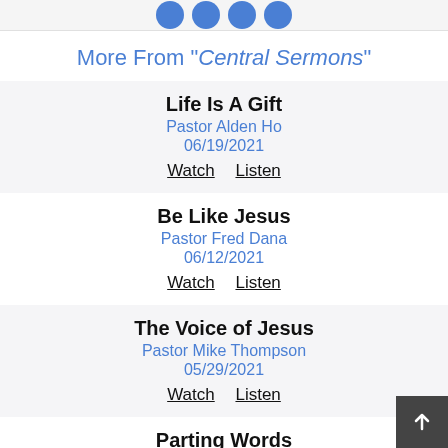[Figure (illustration): Four blue circular social media icons at top]
More From "Central Sermons"
Life Is A Gift
Pastor Alden Ho
06/19/2021
Watch   Listen
Be Like Jesus
Pastor Fred Dana
06/12/2021
Watch   Listen
The Voice of Jesus
Pastor Mike Thompson
05/29/2021
Watch   Listen
Parting Words
Pastor Chris Buttery